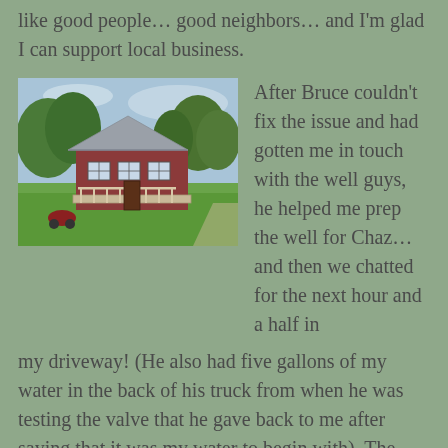like good people… good neighbors… and I'm glad I can support local business.
[Figure (photo): A small red cottage-style house with a metal roof, front porch with white railing, surrounded by green lawn and trees. A red lawn mower or small vehicle is visible on the grass.]
After Bruce couldn't fix the issue and had gotten me in touch with the well guys, he helped me prep the well for Chaz… and then we chatted for the next hour and a half in my driveway! (He also had five gallons of my water in the back of his truck from when he was testing the valve that he gave back to me after saying that it was my water to begin with). The moment Bruce approached the wishing well and simply started pushing it over… my mind was blown. I didn't realize it wasn't attached to anything!… at all!… it was simply around the well and over the years earth and grass had accumulated up the base of it! I mean, I kind